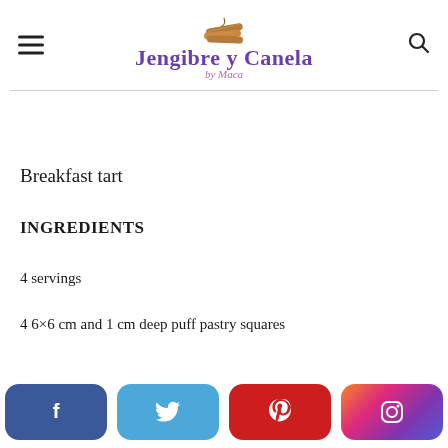Jengibre y Canela by Maca
Breakfast tart
INGREDIENTS
4 servings
4 6×6 cm and 1 cm deep puff pastry squares